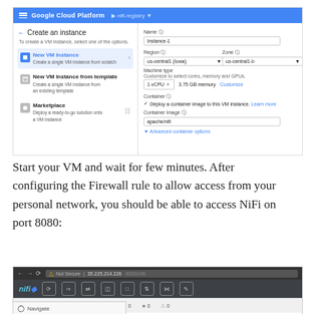[Figure (screenshot): Google Cloud Platform screenshot showing 'Create an instance' page with New VM Instance option selected, showing Name field (Instance-1), Region (us-central1 (Iowa)), Zone (us-central1-b), Machine type (1 vCPU, 3.75 GB memory), Container section with apache/nifi image.]
Start your VM and wait for few minutes. After configuring the Firewall rule to allow access from your personal network, you should be able to access NiFi on port 8080:
[Figure (screenshot): Browser screenshot showing NiFi running at 35.225.214.226:8080/nifi/ with NiFi toolbar and status bar showing 0/0 bytes.]